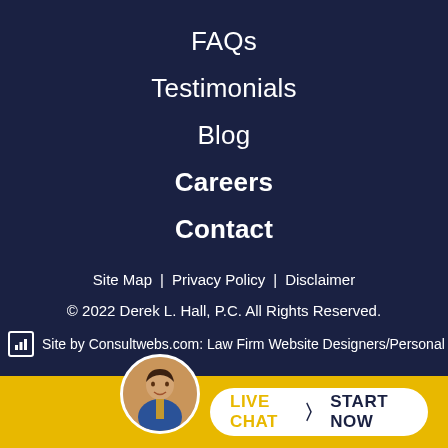FAQs
Testimonials
Blog
Careers
Contact
Site Map | Privacy Policy | Disclaimer
© 2022 Derek L. Hall, P.C. All Rights Reserved.
Site by Consultwebs.com: Law Firm Website Designers/Personal
[Figure (other): Live Chat bar with attorney avatar and START NOW button]